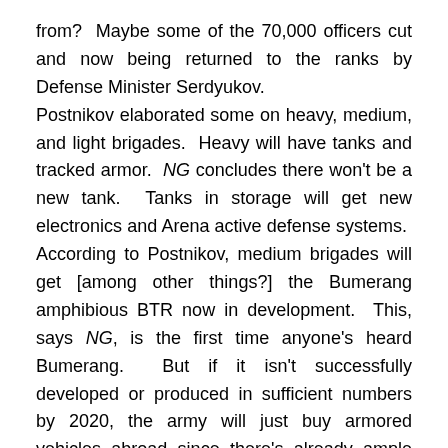from?  Maybe some of the 70,000 officers cut and now being returned to the ranks by Defense Minister Serdyukov.
Postnikov elaborated some on heavy, medium, and light brigades.  Heavy will have tanks and tracked armor.  NG concludes there won't be a new tank.  Tanks in storage will get new electronics and Arena active defense systems.  According to Postnikov, medium brigades will get [among other things?] the Bumerang amphibious BTR now in development.  This, says NG, is the first time anyone's heard Bumerang.  But if it isn't successfully developed or produced in sufficient numbers by 2020, the army will just buy armored vehicles abroad since there's already ample precedent for this.
Light brigades will have vehicles like the Tigr or the Italian